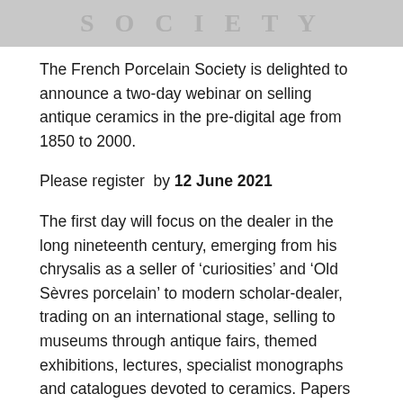[Figure (logo): French Porcelain Society logo banner — grey background with stylized text 'SOCIETY' in large serif letters]
The French Porcelain Society is delighted to announce a two-day webinar on selling antique ceramics in the pre-digital age from 1850 to 2000.
Please register  by 12 June 2021
The first day will focus on the dealer in the long nineteenth century, emerging from his chrysalis as a seller of ‘curiosities’ and ‘Old Sèvres porcelain’ to modern scholar-dealer, trading on an international stage, selling to museums through antique fairs, themed exhibitions, lectures, specialist monographs and catalogues devoted to ceramics. Papers will consider the Parisian dealer Beurdeley, the furnishing of J. Pierpont Morgan’s London home and the dealers who supplied him and the rising market for nineteenth-century ceramics.